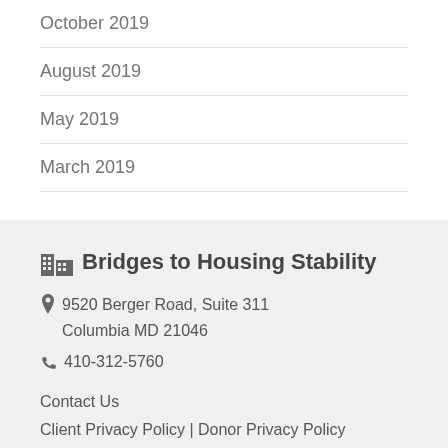October 2019
August 2019
May 2019
March 2019
Bridges to Housing Stability
9520 Berger Road, Suite 311 Columbia MD 21046
410-312-5760
Contact Us
Client Privacy Policy | Donor Privacy Policy
[Figure (logo): Star Platinum Transparency seal/badge, circular logo partially visible at bottom of page]